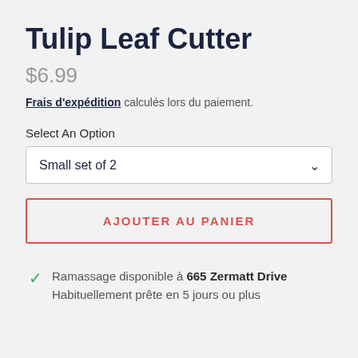Tulip Leaf Cutter
$6.99
Frais d'expédition calculés lors du paiement.
Select An Option
Small set of 2
AJOUTER AU PANIER
Ramassage disponible à 665 Zermatt Drive Habituellement prête en 5 jours ou plus